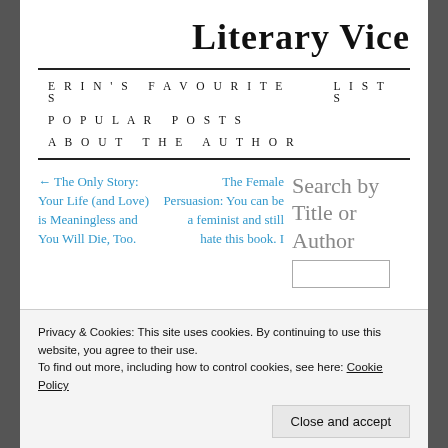Literary Vice
ERIN'S FAVOURITES
LISTS
POPULAR POSTS
ABOUT THE AUTHOR
← The Only Story: Your Life (and Love) is Meaningless and You Will Die, Too.
The Female Persuasion: You can be a feminist and still hate this book. I
Search by Title or Author
Privacy & Cookies: This site uses cookies. By continuing to use this website, you agree to their use.
To find out more, including how to control cookies, see here: Cookie Policy
Close and accept